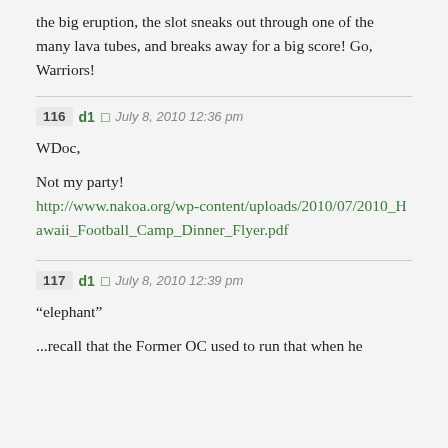the big eruption, the slot sneaks out through one of the many lava tubes, and breaks away for a big score! Go, Warriors!
116 d1 July 8, 2010 12:36 pm
WDoc,
Not my party!
http://www.nakoa.org/wp-content/uploads/2010/07/2010_Hawaii_Football_Camp_Dinner_Flyer.pdf
117 d1 July 8, 2010 12:39 pm
“elephant”
...recall that the Former OC used to run that when he